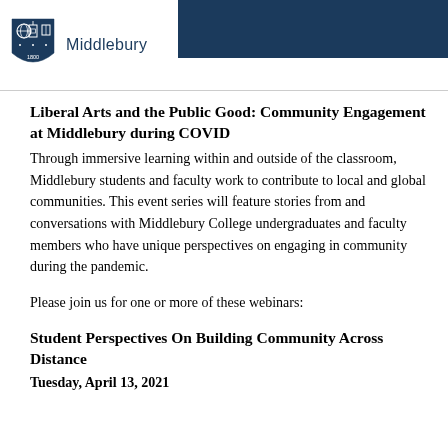[Figure (logo): Middlebury College logo with shield crest and text 'Middlebury' on white background, set against a dark navy header bar]
Liberal Arts and the Public Good: Community Engagement at Middlebury during COVID
Through immersive learning within and outside of the classroom, Middlebury students and faculty work to contribute to local and global communities. This event series will feature stories from and conversations with Middlebury College undergraduates and faculty members who have unique perspectives on engaging in community during the pandemic.
Please join us for one or more of these webinars:
Student Perspectives On Building Community Across Distance
Tuesday, April 13, 2021